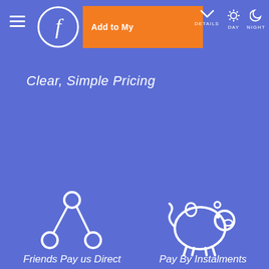Add to My | DETAILS  DAY  NIGHT
Clear, Simple Pricing
[Figure (illustration): Share/network icon (three circles connected by lines) representing Friends Pay us Direct feature]
Friends Pay us Direct
[Figure (illustration): Piggy bank icon representing Pay By Instalments feature]
Pay By Instalments
[Figure (illustration): Smartphone with person icon representing Download Event App feature]
Download Event App
[Figure (illustration): Thumbs up / like icon representing 98% Recommend Us feature]
98% Recommend Us